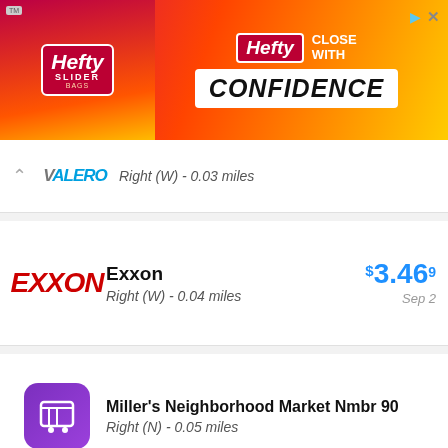[Figure (screenshot): Hefty Slider Bags advertisement banner with pink/orange/yellow gradient background, Hefty logo on left and 'CLOSE WITH CONFIDENCE' text on right]
VALERO - Right (W) - 0.03 miles
Exxon - Right (W) - 0.04 miles - $3.46 9/10 - Sep 2
Miller's Neighborhood Market Nmbr 90 - Right (N) - 0.05 miles
Citgo - Right (W) - 0.05 miles - $3.45 9/10 - Sep 1
Exxon (partial, bottom)